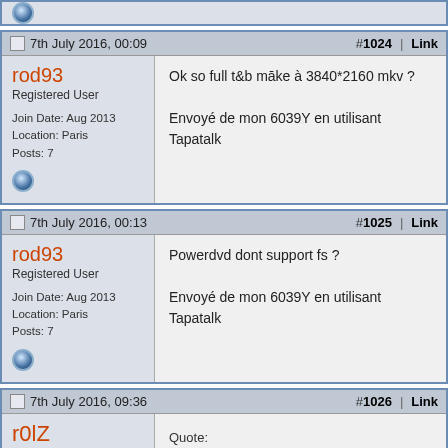[status icon - top stub]
7th July 2016, 00:09  #1024 | Link
rod93
Registered User
Join Date: Aug 2013
Location: Paris
Posts: 7
Ok so full t&b māke à 3840*2160 mkv ?

Envoyé de mon 6039Y en utilisant Tapatalk
7th July 2016, 00:13  #1025 | Link
rod93
Registered User
Join Date: Aug 2013
Location: Paris
Posts: 7
Powerdvd dont support fs ?

Envoyé de mon 6039Y en utilisant Tapatalk
7th July 2016, 09:36  #1026 | Link
r0lZ
PgcEdit daemon
Quote:
Originally Posted by rod93
Ok so full t&b māke à 3840*2160 mkv ?